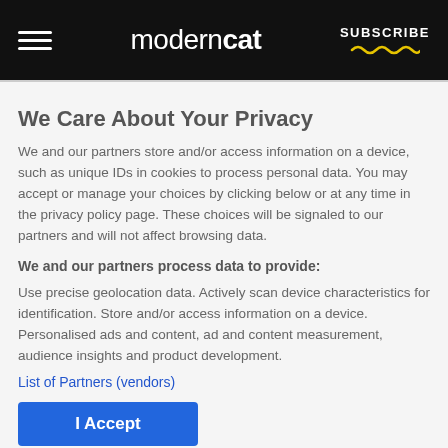moderncat | SUBSCRIBE
We Care About Your Privacy
We and our partners store and/or access information on a device, such as unique IDs in cookies to process personal data. You may accept or manage your choices by clicking below or at any time in the privacy policy page. These choices will be signaled to our partners and will not affect browsing data.
We and our partners process data to provide:
Use precise geolocation data. Actively scan device characteristics for identification. Store and/or access information on a device. Personalised ads and content, ad and content measurement, audience insights and product development.
List of Partners (vendors)
I Accept